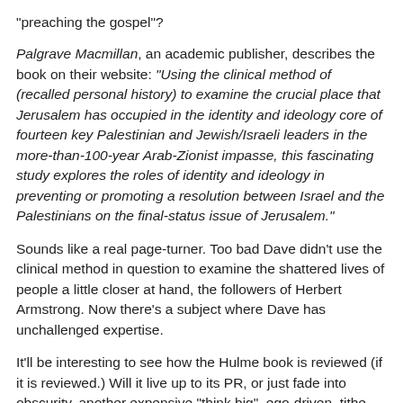“preaching the gospel”?
Palgrave Macmillan, an academic publisher, describes the book on their website: “Using the clinical method of (recalled personal history) to examine the crucial place that Jerusalem has occupied in the identity and ideology core of fourteen key Palestinian and Jewish/Israeli leaders in the more-than-100-year Arab-Zionist impasse, this fascinating study explores the roles of identity and ideology in preventing or promoting a resolution between Israel and the Palestinians on the final-status issue of Jerusalem.”
Sounds like a real page-turner. Too bad Dave didn’t use the clinical method in question to examine the shattered lives of people a little closer at hand, the followers of Herbert Armstrong. Now there’s a subject where Dave has unchallenged expertise.
It’ll be interesting to see how the Hulme book is reviewed (if it is reviewed.) Will it live up to its PR, or just fade into obscurity, another expensive “think big”, ego-driven, tithe-funded white elephant?